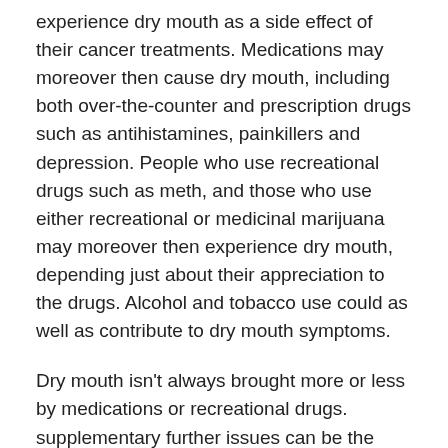experience dry mouth as a side effect of their cancer treatments. Medications may moreover then cause dry mouth, including both over-the-counter and prescription drugs such as antihistamines, painkillers and depression. People who use recreational drugs such as meth, and those who use either recreational or medicinal marijuana may moreover then experience dry mouth, depending just about their appreciation to the drugs. Alcohol and tobacco use could as well as contribute to dry mouth symptoms.
Dry mouth isn't always brought more or less by medications or recreational drugs. supplementary further issues can be the culprit as well. Elderly people may experience dry mouth clearly understandably due to aging, but more frightful problems can be amalgamated taking into consideration dry mouth. For example, people later autoimmune diseases such as Type 1 diabetes, HIV or AIDS can experience dry mouth as a symptom. People who experience nerve damage to the head or neck may next deem they motivate experiencing persistent